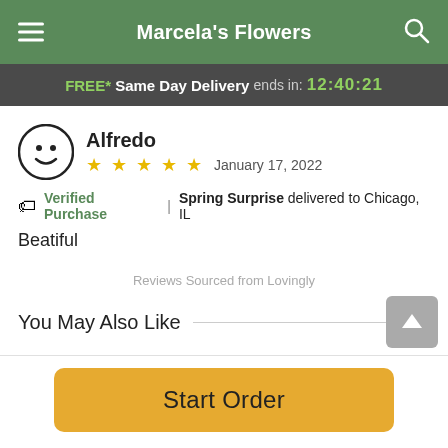Marcela's Flowers
FREE* Same Day Delivery ends in: 12:40:21
Alfredo
★★★★★ January 17, 2022
🏷 Verified Purchase | Spring Surprise delivered to Chicago, IL
Beatiful
Reviews Sourced from Lovingly
You May Also Like
Start Order